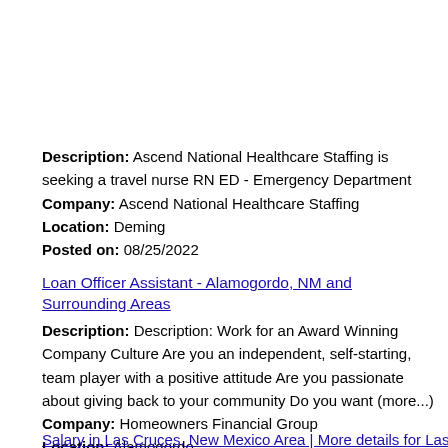Description: Ascend National Healthcare Staffing is seeking a travel nurse RN ED - Emergency Department
Company: Ascend National Healthcare Staffing
Location: Deming
Posted on: 08/25/2022
Loan Officer Assistant - Alamogordo, NM and Surrounding Areas
Description: Description: Work for an Award Winning Company Culture Are you an independent, self-starting, team player with a positive attitude Are you passionate about giving back to your community Do you want (more...)
Company: Homeowners Financial Group
Location: Alamogordo
Posted on: 08/25/2022
Salary in Las Cruces, New Mexico Area | More details for Las...